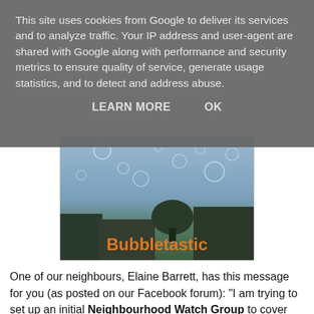This site uses cookies from Google to deliver its services and to analyze traffic. Your IP address and user-agent are shared with Google along with performance and security metrics to ensure quality of service, generate usage statistics, and to detect and address abuse.
LEARN MORE   OK
[Figure (photo): Photo showing soap bubbles floating in the sky above rooftops and trees, with the word 'Bubbletastic' in orange bold text overlaid at the bottom.]
One of our neighbours, Elaine Barrett, has this message for you (as posted on our Facebook forum): "I am trying to set up an initial Neighbourhood Watch Group to cover the Southern End of Abbotts Barton: Oglander Road, Knight Close and the part of Coney Green south of Russell Road. In addition to improving the security of the area by deterring crime, having a Neighbourhood Watch Group would enable Abbotts Barton to be part of Winchester County watch A